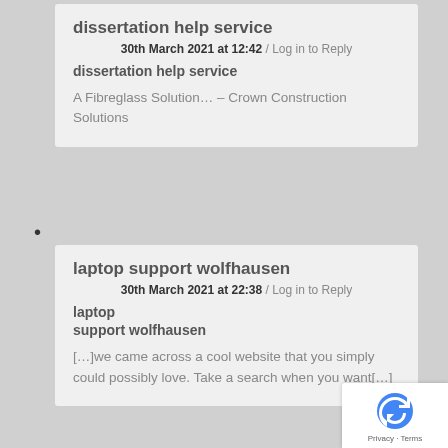dissertation help service
30th March 2021 at 12:42 / Log in to Reply
dissertation help service
A Fibreglass Solution… – Crown Construction Solutions
•
laptop support wolfhausen
30th March 2021 at 22:38 / Log in to Reply
laptop
support wolfhausen
[…]we came across a cool website that you simply could possibly love. Take a search when you want[…]